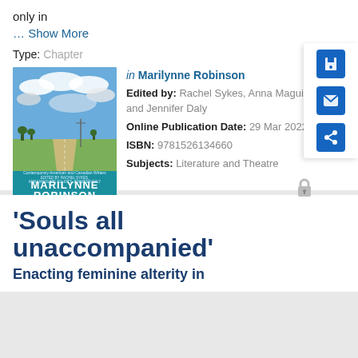only in
… Show More
Type: Chapter
[Figure (photo): Book cover of Marilynne Robinson edited volume showing a rural road under cloudy sky]
in Marilynne Robinson Edited by: Rachel Sykes, Anna Maguire Elliott, and Jennifer Daly Online Publication Date: 29 Mar 2022 ISBN: 9781526134660 Subjects: Literature and Theatre
'Souls all unaccompanied'
Enacting feminine alterity in